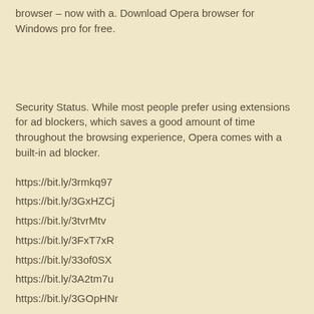browser – now with a. Download Opera browser for Windows pro for free.
Security Status. While most people prefer using extensions for ad blockers, which saves a good amount of time throughout the browsing experience, Opera comes with a built-in ad blocker.
https://bit.ly/3rmkq97
https://bit.ly/3GxHZCj
https://bit.ly/3tvrMtv
https://bit.ly/3FxT7xR
https://bit.ly/33of0SX
https://bit.ly/3A2tm7u
https://bit.ly/3GOpHNr